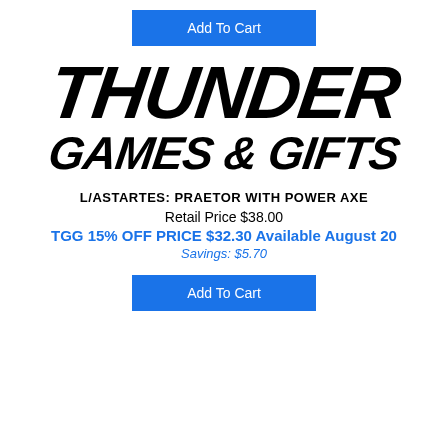[Figure (logo): Add To Cart button at top of page]
[Figure (logo): Thunder Games & Gifts logo in large bold italic black lettering]
L/ASTARTES: PRAETOR WITH POWER AXE
Retail Price $38.00
TGG 15% OFF PRICE $32.30 Available August 20
Savings: $5.70
[Figure (other): Add To Cart button at bottom of page]